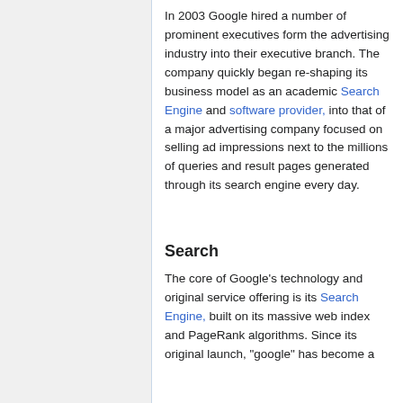In 2003 Google hired a number of prominent executives form the advertising industry into their executive branch. The company quickly began re-shaping its business model as an academic Search Engine and software provider, into that of a major advertising company focused on selling ad impressions next to the millions of queries and result pages generated through its search engine every day.
Search
The core of Google's technology and original service offering is its Search Engine, built on its massive web index and PageRank algorithms. Since its original launch, "google" has become a